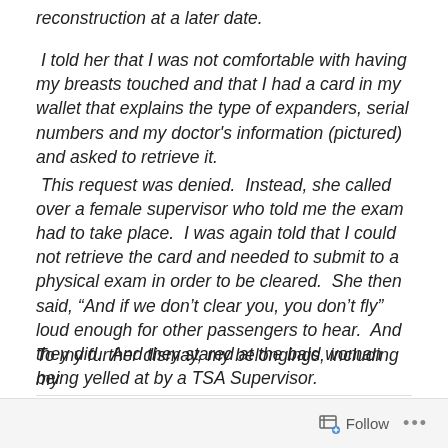reconstruction at a later date.  I told her that I was not comfortable with having my breasts touched and that I had a card in my wallet that explains the type of expanders, serial numbers and my doctor's information (pictured) and asked to retrieve it.  This request was denied.  Instead, she called over a female supervisor who told me the exam had to take place.  I was again told that I could not retrieve the card and needed to submit to a physical exam in order to be cleared.  She then said, “And if we don’t clear you, you don’t fly” loud enough for other passengers to hear.  And they did.  And they stared at the bald woman being yelled at by a TSA Supervisor.
To my further dismay, my belongings, including my
Follow ...